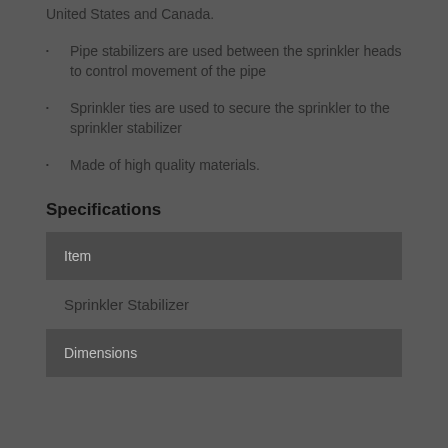United States and Canada.
Pipe stabilizers are used between the sprinkler heads to control movement of the pipe
Sprinkler ties are used to secure the sprinkler to the sprinkler stabilizer
Made of high quality materials.
Specifications
| Item | Dimensions |
| --- | --- |
| Sprinkler Stabilizer |  |